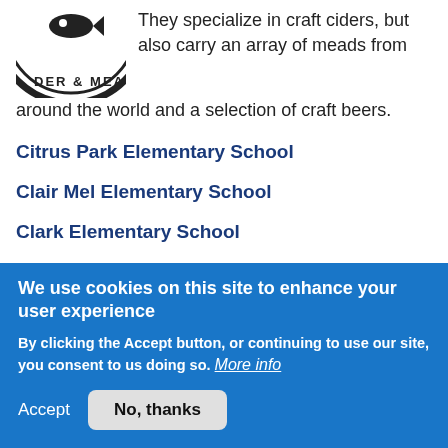[Figure (logo): Circular logo with text 'DER & MEA' visible (partially cropped), with a fish illustration in the center]
They specialize in craft ciders, but also carry an array of meads from around the world and a selection of craft beers.
Citrus Park Elementary School
Clair Mel Elementary School
Clark Elementary School
Clar... Elementary School (partially visible)
We use cookies on this site to enhance your user experience
By clicking the Accept button, or continuing to use our site, you consent to us doing so. More info